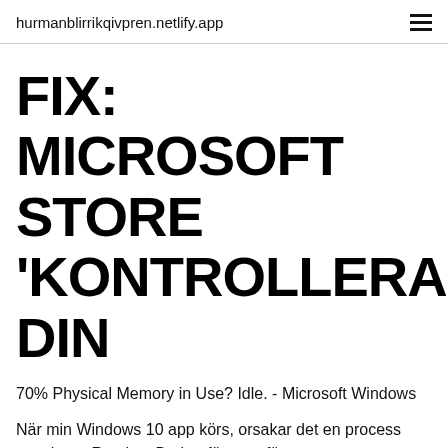hurmanblirrikqivpren.netlify.app
FIX: MICROSOFT STORE 'KONTROLLERA DIN
70% Physical Memory in Use? Idle. - Microsoft Windows
När min Windows 10 app körs, orsakar det en process som heter Runtime Broker för att utföra.